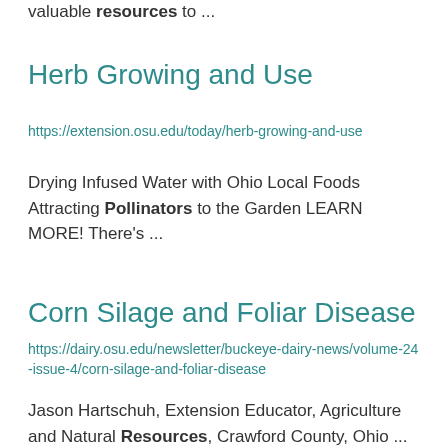valuable resources to ...
Herb Growing and Use
https://extension.osu.edu/today/herb-growing-and-use
Drying Infused Water with Ohio Local Foods Attracting Pollinators to the Garden LEARN MORE! There's ...
Corn Silage and Foliar Disease
https://dairy.osu.edu/newsletter/buckeye-dairy-news/volume-24-issue-4/corn-silage-and-foliar-disease
Jason Hartschuh, Extension Educator, Agriculture and Natural Resources, Crawford County, Ohio ... pollination very